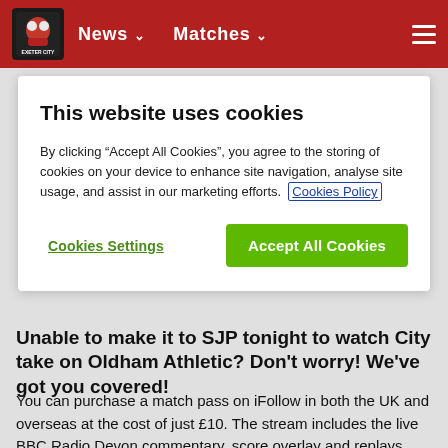News   Matches
This website uses cookies
By clicking “Accept All Cookies”, you agree to the storing of cookies on your device to enhance site navigation, analyse site usage, and assist in our marketing efforts. Cookies Policy
Cookies Settings     Accept All Cookies
Unable to make it to SJP tonight to watch City take on Oldham Athletic? Don't worry! We've got you covered!
You can purchase a match pass on iFollow in both the UK and overseas at the cost of just £10. The stream includes the live BBC Radio Devon commentary, score overlay and replays.